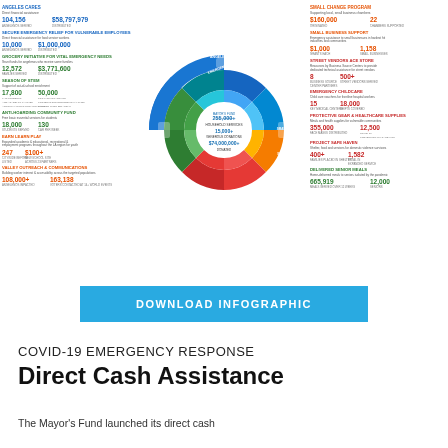[Figure (infographic): COVID-19 Emergency Response wheel infographic showing multiple programs: Angeles Cares, Secure Emergency Relief for Vulnerable Employees, Grocery Initiative for Vital Emergency Needs, Season of STEM, Anti-Hoarding Community Fund, Earn Learn Play, Valley Outreach & Communications on the left; Small Change Program, Small Business Support, Street Vendors Ace Store, Emergency Childcare, Protective Gear & Healthcare Supplies, Project Safe Haven, Delivered Senior Meals on the right. Center shows 255,000+ Household Services, 15,000+ Generous Donations, $74,000,000+ Donated. The wheel has colored segments in blue, green, yellow/orange, red.]
DOWNLOAD INFOGRAPHIC
COVID-19 EMERGENCY RESPONSE
Direct Cash Assistance
The Mayor's Fund launched its direct cash